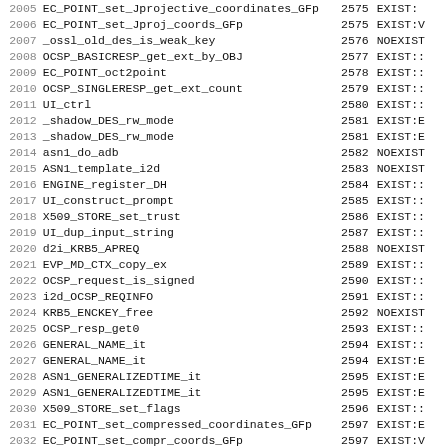| num | name | ordinal | exist |
| --- | --- | --- | --- |
| 2005 | EC_POINT_set_Jprojective_coordinates_GFp | 2575 | EXIST: |
| 2006 | EC_POINT_set_Jproj_coords_GFp | 2575 | EXIST:V |
| 2007 | _ossl_old_des_is_weak_key | 2576 | NOEXIST |
| 2008 | OCSP_BASICRESP_get_ext_by_OBJ | 2577 | EXIST:: |
| 2009 | EC_POINT_oct2point | 2578 | EXIST:: |
| 2010 | OCSP_SINGLERESP_get_ext_count | 2579 | EXIST:: |
| 2011 | UI_ctrl | 2580 | EXIST:: |
| 2012 | _shadow_DES_rw_mode | 2581 | EXIST:E |
| 2013 | _shadow_DES_rw_mode | 2581 | EXIST:E |
| 2014 | asn1_do_adb | 2582 | NOEXIST |
| 2015 | ASN1_template_i2d | 2583 | NOEXIST |
| 2016 | ENGINE_register_DH | 2584 | EXIST:: |
| 2017 | UI_construct_prompt | 2585 | EXIST:: |
| 2018 | X509_STORE_set_trust | 2586 | EXIST:: |
| 2019 | UI_dup_input_string | 2587 | EXIST:: |
| 2020 | d2i_KRB5_APREQ | 2588 | NOEXIST |
| 2021 | EVP_MD_CTX_copy_ex | 2589 | EXIST:: |
| 2022 | OCSP_request_is_signed | 2590 | EXIST:: |
| 2023 | i2d_OCSP_REQINFO | 2591 | EXIST:: |
| 2024 | KRB5_ENCKEY_free | 2592 | NOEXIST |
| 2025 | OCSP_resp_get0 | 2593 | EXIST:: |
| 2026 | GENERAL_NAME_it | 2594 | EXIST:: |
| 2027 | GENERAL_NAME_it | 2594 | EXIST:E |
| 2028 | ASN1_GENERALIZEDTIME_it | 2595 | EXIST:E |
| 2029 | ASN1_GENERALIZEDTIME_it | 2595 | EXIST:E |
| 2030 | X509_STORE_set_flags | 2596 | EXIST:: |
| 2031 | EC_POINT_set_compressed_coordinates_GFp | 2597 | EXIST:E |
| 2032 | EC_POINT_set_compr_coords_GFp | 2597 | EXIST:V |
| 2033 | OCSP_response_status_str | 2598 | EXIST:: |
| 2034 | d2i_OCSP_REVOKEDINFO | 2599 | EXIST:: |
| 2035 | OCSP_basic_add1_cert | 2600 | EXIST:: |
| 2036 | ERR_get_implementation | 2601 | NOEXIST |
| 2037 | EVP_Sign_Final_... | 2602 | EXIST: |